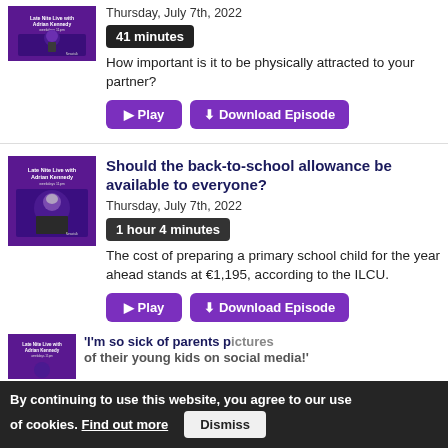[Figure (photo): Podcast thumbnail image with purple background]
Thursday, July 7th, 2022
41 minutes
How important is it to be physically attracted to your partner?
Play
Download Episode
[Figure (photo): Late Nite Live with Adrian Kennedy podcast thumbnail]
Should the back-to-school allowance be available to everyone?
Thursday, July 7th, 2022
1 hour 4 minutes
The cost of preparing a primary school child for the year ahead stands at €1,195, according to the ILCU.
Play
Download Episode
[Figure (photo): Late Nite Live with Adrian Kennedy podcast thumbnail (partial)]
'I'm so sick of parents posting pictures of their young kids on social media!'
By continuing to use this website, you agree to our use of cookies. Find out more
Dismiss